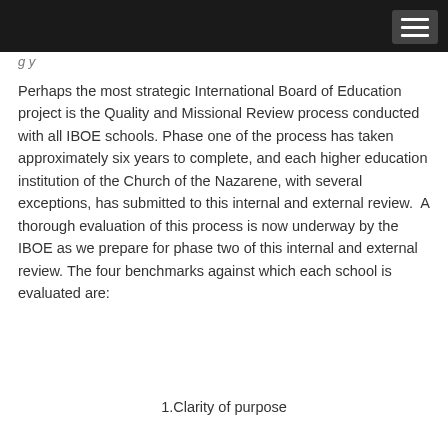Perhaps the most strategic International Board of Education project is the Quality and Missional Review process conducted with all IBOE schools. Phase one of the process has taken approximately six years to complete, and each higher education institution of the Church of the Nazarene, with several exceptions, has submitted to this internal and external review. A thorough evaluation of this process is now underway by the IBOE as we prepare for phase two of this internal and external review. The four benchmarks against which each school is evaluated are:
1.Clarity of purpose